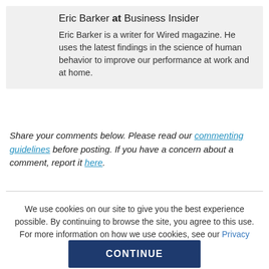[Figure (photo): Circular avatar photo of Eric Barker, a man in a suit]
Eric Barker at Business Insider
Eric Barker is a writer for Wired magazine. He uses the latest findings in the science of human behavior to improve our performance at work and at home.
Share your comments below. Please read our commenting guidelines before posting. If you have a concern about a comment, report it here.
We use cookies on our site to give you the best experience possible. By continuing to browse the site, you agree to this use. For more information on how we use cookies, see our Privacy Policy.
CONTINUE